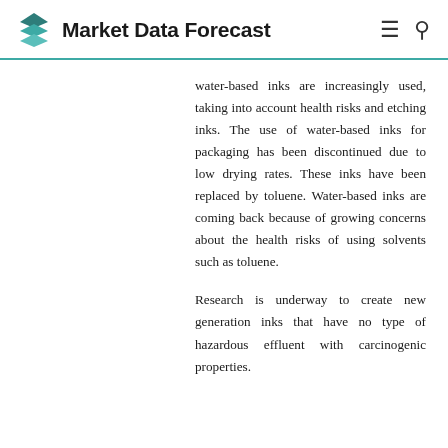Market Data Forecast
water-based inks are increasingly used, taking into account health risks and etching inks. The use of water-based inks for packaging has been discontinued due to low drying rates. These inks have been replaced by toluene. Water-based inks are coming back because of growing concerns about the health risks of using solvents such as toluene.
Research is underway to create new generation inks that have no type of hazardous effluent with carcinogenic properties.